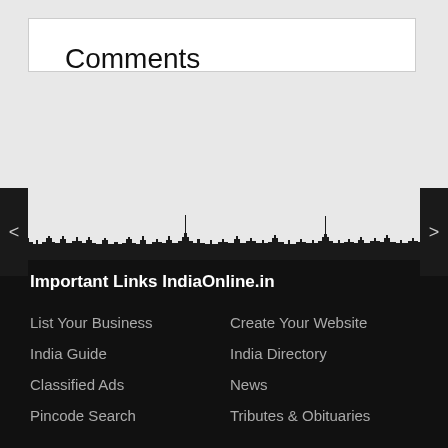Comments
[Figure (illustration): City skyline silhouette in black against light gray background]
Important Links IndiaOnline.in
List Your Business
Create Your Website
India Guide
India Directory
Classified Ads
News
Pincode Search
Tributes & Obituaries